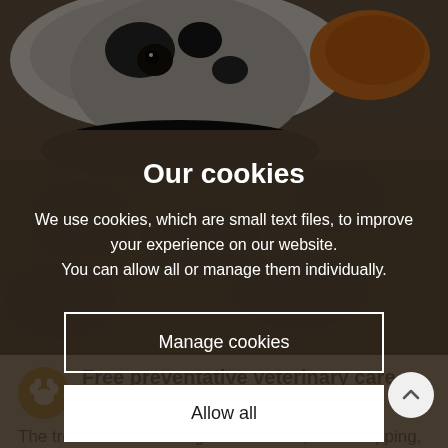[Figure (photo): Photo of a dog (dalmatian/mixed breed) looking at camera with an orange toy, dark blanket background, partially visible with dark overlay]
Our cookies
We use cookies, which are small text files, to improve your experience on our website. You can allow all or manage them individually.
Manage cookies
Allow all
Free preventative veterinary care
The treatments including vaccinations, microchipping, neutering, worming and flea treatments.